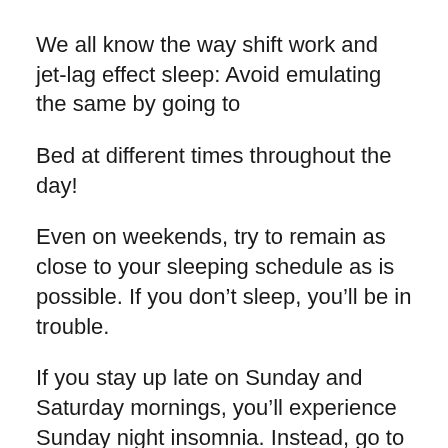We all know the way shift work and jet-lag effect sleep: Avoid emulating the same by going to
Bed at different times throughout the day!
Even on weekends, try to remain as close to your sleeping schedule as is possible. If you don’t sleep, you’ll be in trouble.
If you stay up late on Sunday and Saturday mornings, you’ll experience Sunday night insomnia. Instead, go to
wake up and sleep at about the same hour every day and you may not need to rely on an alarm